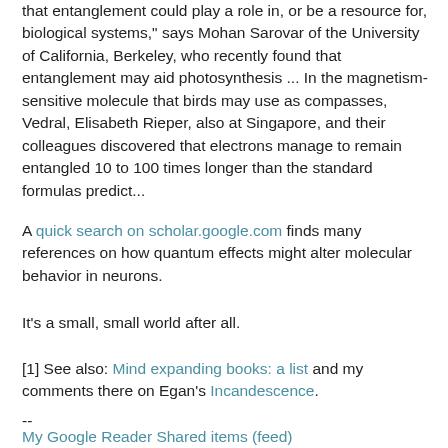that entanglement could play a role in, or be a resource for, biological systems," says Mohan Sarovar of the University of California, Berkeley, who recently found that entanglement may aid photosynthesis ... In the magnetism-sensitive molecule that birds may use as compasses, Vedral, Elisabeth Rieper, also at Singapore, and their colleagues discovered that electrons manage to remain entangled 10 to 100 times longer than the standard formulas predict...
A quick search on scholar.google.com finds many references on how quantum effects might alter molecular behavior in neurons.
It's a small, small world after all.
[1] See also: Mind expanding books: a list and my comments there on Egan's Incandescence.
--
My Google Reader Shared items (feed)